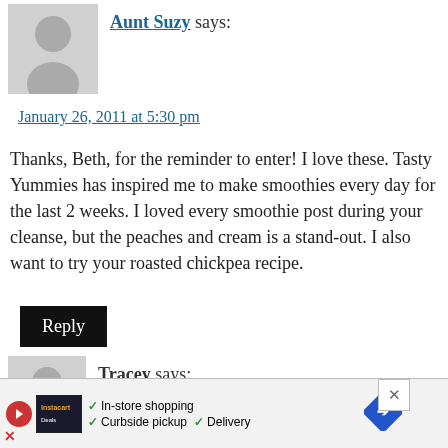Aunt Suzy says:
January 26, 2011 at 5:30 pm
Thanks, Beth, for the reminder to enter! I love these. Tasty Yummies has inspired me to make smoothies every day for the last 2 weeks. I loved every smoothie post during your cleanse, but the peaches and cream is a stand-out. I also want to try your roasted chickpea recipe.
Reply
Tracey says:
January 27, 2011 at 4:41 am
I'm looking forward to making the creamy broccoli soup. I
usu... vy. I ne... nks for.
[Figure (infographic): Advertisement banner with store shopping options: In-store shopping, Curbside pickup, Delivery with play button, logo, checkmarks and navigation arrow]